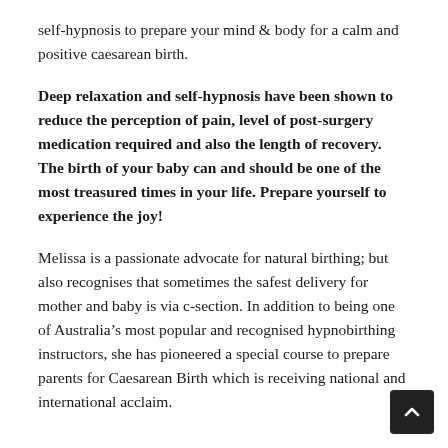self-hypnosis to prepare your mind & body for a calm and positive caesarean birth.
Deep relaxation and self-hypnosis have been shown to reduce the perception of pain, level of post-surgery medication required and also the length of recovery. The birth of your baby can and should be one of the most treasured times in your life. Prepare yourself to experience the joy!
Melissa is a passionate advocate for natural birthing; but also recognises that sometimes the safest delivery for mother and baby is via c-section. In addition to being one of Australia's most popular and recognised hypnobirthing instructors, she has pioneered a special course to prepare parents for Caesarean Birth which is receiving national and international acclaim.